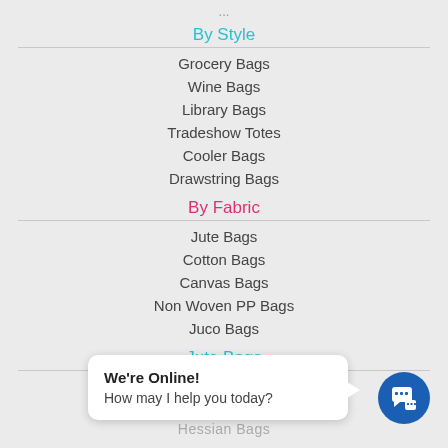By Style
Grocery Bags
Wine Bags
Library Bags
Tradeshow Totes
Cooler Bags
Drawstring Bags
By Fabric
Jute Bags
Cotton Bags
Canvas Bags
Non Woven PP Bags
Juco Bags
Jute Bags
Jute Bags Wholesale
Hessian Bags
We're Online! How may I help you today?